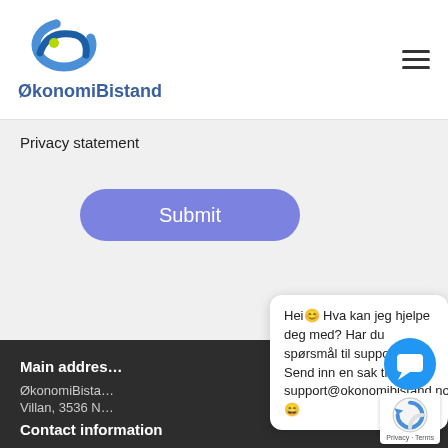[Figure (logo): ØkonomiBistand logo with blue swirl and green dot, company name in blue]
[Figure (other): Hamburger menu icon (three horizontal lines) in top right]
Privacy statement
[Figure (other): Blue rounded Submit button]
Main address
ØkonomiBiста…
Villan, 3536 N…
[Figure (other): Chat popup: Hei😊 Hva kan jeg hjelpe deg med? Har du spørsmål til support? Send inn en sak til support@okonomibistand.no 😄]
[Figure (other): Blue chat icon circle with speech bubble]
[Figure (other): reCAPTCHA badge with Privacy and Terms links]
Contact information